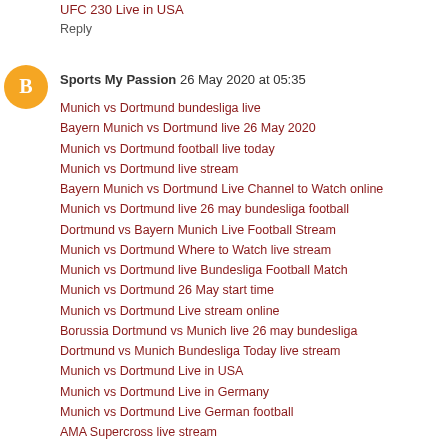UFC 230 Live in USA
Reply
Sports My Passion  26 May 2020 at 05:35
Munich vs Dortmund bundesliga live
Bayern Munich vs Dortmund live 26 May 2020
Munich vs Dortmund football live today
Munich vs Dortmund live stream
Bayern Munich vs Dortmund Live Channel to Watch online
Munich vs Dortmund live 26 may bundesliga football
Dortmund vs Bayern Munich Live Football Stream
Munich vs Dortmund Where to Watch live stream
Munich vs Dortmund live Bundesliga Football Match
Munich vs Dortmund 26 May start time
Munich vs Dortmund Live stream online
Borussia Dortmund vs Munich live 26 may bundesliga
Dortmund vs Munich Bundesliga Today live stream
Munich vs Dortmund Live in USA
Munich vs Dortmund Live in Germany
Munich vs Dortmund Live German football
AMA Supercross live stream